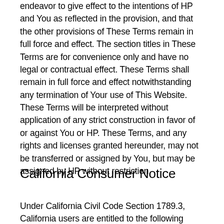endeavor to give effect to the intentions of HP and You as reflected in the provision, and that the other provisions of These Terms remain in full force and effect. The section titles in These Terms are for convenience only and have no legal or contractual effect. These Terms shall remain in full force and effect notwithstanding any termination of Your use of This Website. These Terms will be interpreted without application of any strict construction in favor of or against You or HP. These Terms, and any rights and licenses granted hereunder, may not be transferred or assigned by You, but may be assigned by HP without restriction.
California Consumer Notice
Under California Civil Code Section 1789.3, California users are entitled to the following